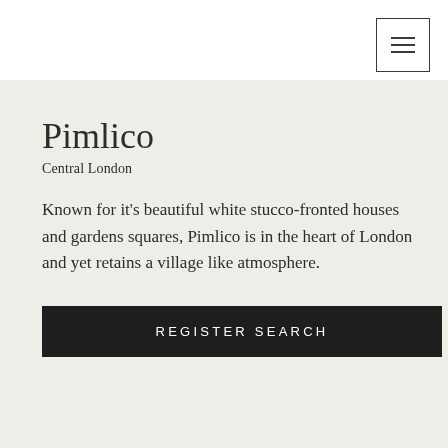[Figure (other): Hamburger menu button icon with three horizontal lines, in top-right corner inside a bordered square]
Pimlico
Central London
Known for it's beautiful white stucco-fronted houses and gardens squares, Pimlico is in the heart of London and yet retains a village like atmosphere.
REGISTER SEARCH